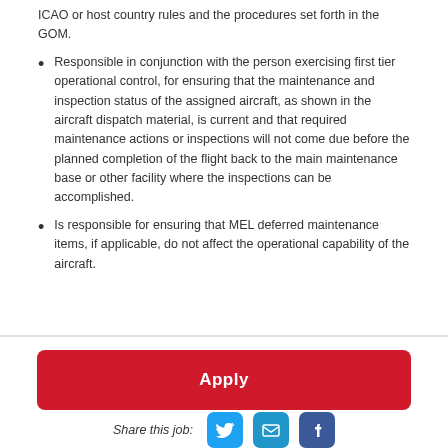ICAO or host country rules and the procedures set forth in the GOM.
Responsible in conjunction with the person exercising first tier operational control, for ensuring that the maintenance and inspection status of the assigned aircraft, as shown in the aircraft dispatch material, is current and that required maintenance actions or inspections will not come due before the planned completion of the flight back to the main maintenance base or other facility where the inspections can be accomplished.
Is responsible for ensuring that MEL deferred maintenance items, if applicable, do not affect the operational capability of the aircraft.
Apply
Share this job: